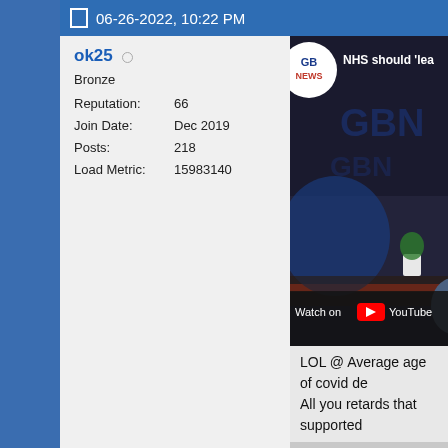06-26-2022, 10:22 PM
ok25
Bronze
Reputation: 66
Join Date: Dec 2019
Posts: 218
Load Metric: 15983140
[Figure (screenshot): YouTube video thumbnail showing GBN (GB News) studio with text 'NHS should lea' visible, and a 'Watch on YouTube' overlay bar at the bottom.]
LOL @ Average age of covid de
All you retards that supported